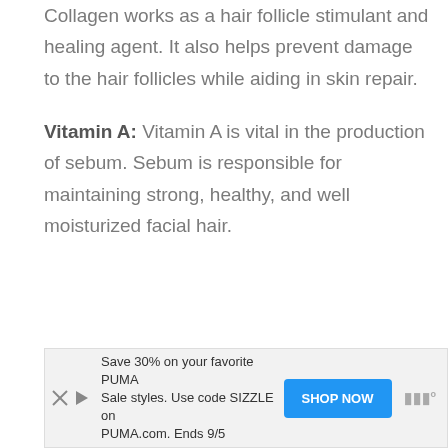Collagen works as a hair follicle stimulant and healing agent. It also helps prevent damage to the hair follicles while aiding in skin repair.
Vitamin A: Vitamin A is vital in the production of sebum. Sebum is responsible for maintaining strong, healthy, and well moisturized facial hair.
[Figure (other): Advertisement banner: Save 30% on your favorite PUMA Sale styles. Use code SIZZLE on PUMA.com. Ends 9/5. With SHOP NOW button.]